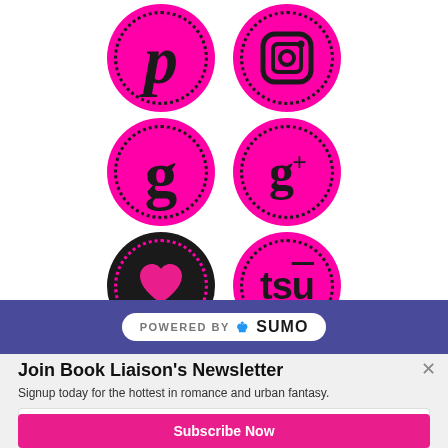[Figure (illustration): Six pink magenta circles with dotted borders arranged in 3 rows of 2: Pinterest (p), Instagram camera icon, Goodreads (g), Google+ (g+), Bloglovin heart, and tsu social icons]
[Figure (logo): Powered By SUMO badge with crown icon on a purple/indigo banner bar]
Join Book Liaison's Newsletter
Signup today for the hottest in romance and urban fantasy.
Enter your email address
Subscribe Now